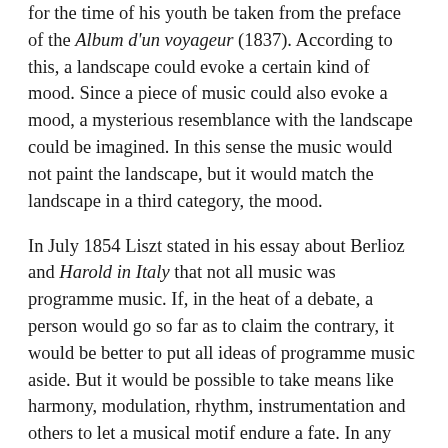for the time of his youth be taken from the preface of the Album d'un voyageur (1837). According to this, a landscape could evoke a certain kind of mood. Since a piece of music could also evoke a mood, a mysterious resemblance with the landscape could be imagined. In this sense the music would not paint the landscape, but it would match the landscape in a third category, the mood.
In July 1854 Liszt stated in his essay about Berlioz and Harold in Italy that not all music was programme music. If, in the heat of a debate, a person would go so far as to claim the contrary, it would be better to put all ideas of programme music aside. But it would be possible to take means like harmony, modulation, rhythm, instrumentation and others to let a musical motif endure a fate. In any case, a programme should be added to a piece of music only if it was necessarily needed for an adequate understanding of that piece.
Still later, in a letter to Marie d'Agoult of November 15, 1864, his thoughts...